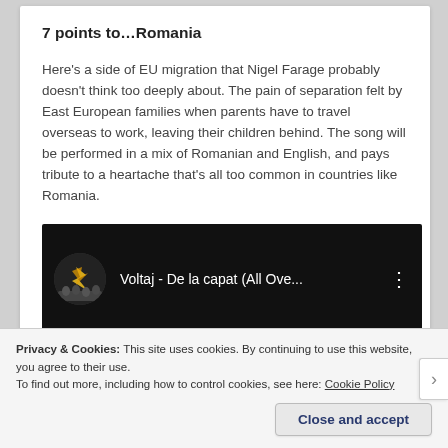7 points to…Romania
Here's a side of EU migration that Nigel Farage probably doesn't think too deeply about. The pain of separation felt by East European families when parents have to travel overseas to work, leaving their children behind. The song will be performed in a mix of Romanian and English, and pays tribute to a heartache that's all too common in countries like Romania.
[Figure (screenshot): YouTube video embed showing 'Voltaj - De la capat (All Ove...' with a circular thumbnail on a black background]
Privacy & Cookies: This site uses cookies. By continuing to use this website, you agree to their use.
To find out more, including how to control cookies, see here: Cookie Policy
Close and accept